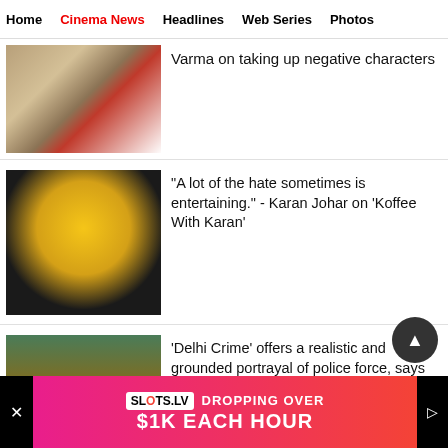Home | Cinema News | Headlines | Web Series | Photos
[Figure (photo): Man in white shirt and red tie]
Varma on taking up negative characters
[Figure (photo): Karan Johar holding a coffee cup in front of golden background]
"A lot of the hate sometimes is entertaining." - Karan Johar on 'Koffee With Karan'
[Figure (photo): Two women in a scene from Delhi Crime]
'Delhi Crime' offers a realistic and grounded portrayal of police force, says Shefali Shah
[Figure (infographic): Advertisement banner: SLOTS.LV - DROPPING OVER $1K EACH HOUR]